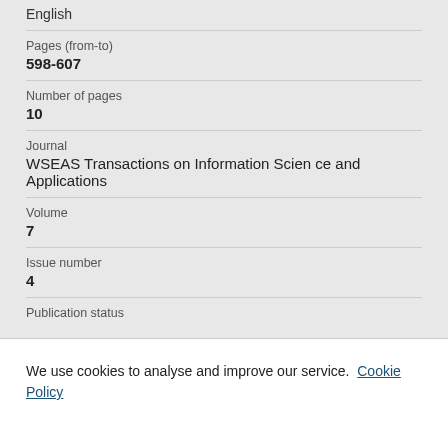English
Pages (from-to)
598-607
Number of pages
10
Journal
WSEAS Transactions on Information Science and Applications
Volume
7
Issue number
4
Publication status
We use cookies to analyse and improve our service. Cookie Policy